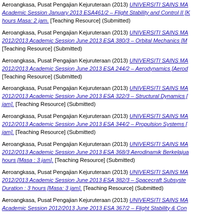Aeroangkasa, Pusat Pengajian Kejuruteraan (2013) UNIVERSITI SAINS MA... Academic Session January 2013 ESA461/2 – Flight Stability and Control II [K... hours Masa: 2 jam. [Teaching Resource] (Submitted)
Aeroangkasa, Pusat Pengajian Kejuruteraan (2013) UNIVERSITI SAINS MA... 2012/2013 Academic Session June 2013 ESA 380/3 – Orbital Mechanics [M... [Teaching Resource] (Submitted)
Aeroangkasa, Pusat Pengajian Kejuruteraan (2013) UNIVERSITI SAINS MA... 2012/2013 Academic Session June 2013 ESA 244/2 – Aerodynamics [Aerod... [Teaching Resource] (Submitted)
Aeroangkasa, Pusat Pengajian Kejuruteraan (2013) UNIVERSITI SAINS MA... 2012/2013 Academic Session June 2013 ESA 322/3 – Structural Dynamics [... jam]. [Teaching Resource] (Submitted)
Aeroangkasa, Pusat Pengajian Kejuruteraan (2013) UNIVERSITI SAINS MA... 2012/2013 Academic Session June 2013 ESA 344/2 – Propulsion Systems [... jam]. [Teaching Resource] (Submitted)
Aeroangkasa, Pusat Pengajian Kejuruteraan (2013) UNIVERSITI SAINS MA... 2012/2013 Academic Session June 2013 ESA 368/3 Aerodinamik Berkelajua... hours [Masa : 3 jam]. [Teaching Resource] (Submitted)
Aeroangkasa, Pusat Pengajian Kejuruteraan (2013) UNIVERSITI SAINS MA... 2012/2013 Academic Session June 2013 ESA 382/3 – Spacecraft Subsyster... Duration : 3 hours [Masa: 3 jam]. [Teaching Resource] (Submitted)
Aeroangkasa, Pusat Pengajian Kejuruteraan (2013) UNIVERSITI SAINS MA... Academic Session 2012/2013 June 2013 ESA 367/2 – Flight Stability & Con...